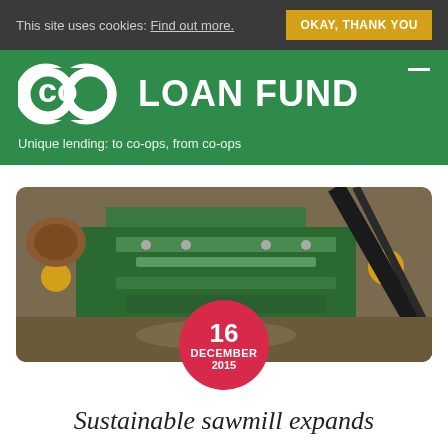This site uses cookies: Find out more.  OKAY, THANK YOU
[Figure (logo): Co-op Loan Fund logo with green background and tagline: Unique lending: to co-ops, from co-ops]
[Figure (photo): Photo of a sawmill with green machinery and logs, with a red circular date badge showing 16 DECEMBER 2015]
Sustainable sawmill expands
The workers' co-operative that operates the UK's first sustainable sawmill is growing rapidly.